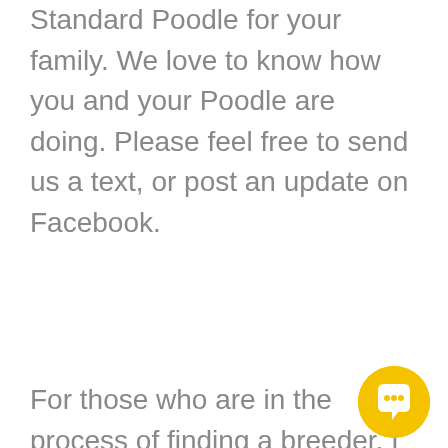Standard Poodle for your family. We love to know how you and your Poodle are doing. Please feel free to send us a text, or post an update on Facebook.
For those who are in the process of finding a breeder, I recommend writing down what is important to you. Prioritize this list. Top considerations should include health testing, how and where the puppies are raised, the temperament, as well as the health and conformation of the parent dogs. Do you feel
[Figure (other): Yellow/gold circular chat bubble icon in the bottom right corner]